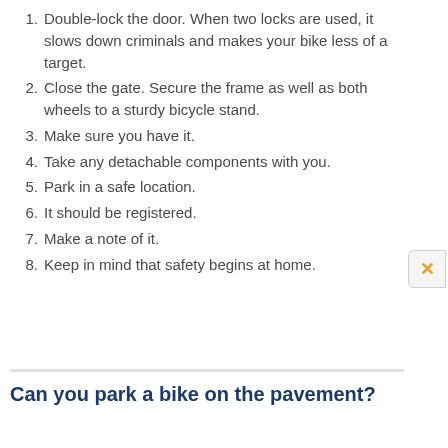1. Double-lock the door. When two locks are used, it slows down criminals and makes your bike less of a target.
2. Close the gate. Secure the frame as well as both wheels to a sturdy bicycle stand.
3. Make sure you have it.
4. Take any detachable components with you.
5. Park in a safe location.
6. It should be registered.
7. Make a note of it.
8. Keep in mind that safety begins at home.
Can you park a bike on the pavement?